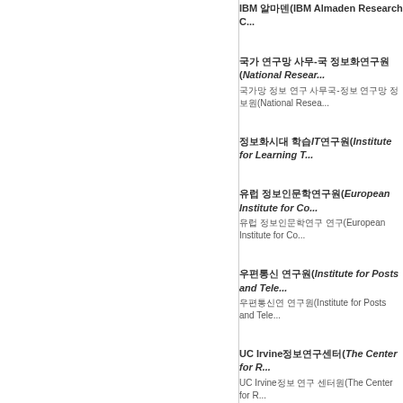IBM 알마덴(IBM Almaden Research C...
국가 연구망 사무-국 정보화연구원(National Research Foundation...) / 국가망 정보 연구 사무국-정보 연구망 정보원(National Resea...
정보화시대 학습IT연구원(Institute for Learning T...
유럽 정보인문학연구원(European Institute for Co...) / 유럽 정보인문학연구 연구(European Institute for Co...
우편통신 연구원(Institute for Posts and Tele...) / 우편통신연 연구원(Institute for Posts and Tele...
UC Irvine정보연구센터(The Center for R...) / UC Irvine정보 연구 센터원(The Center for R...
우편통신망연구 처, 정보연구원(Ministry of Post, Tele...) / 우편통신망연구처 처, 정보 연구원(Ministry of Post, Tel...
정보연구원(Ministry of Information T...